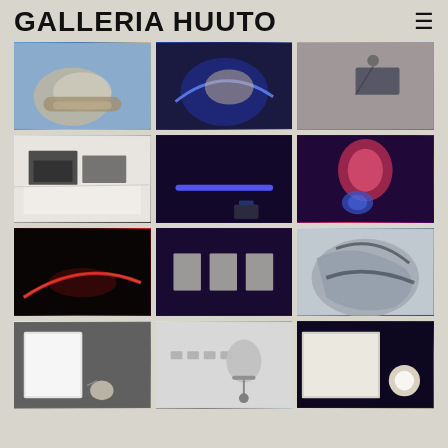GALLERIA HUUTO
[Figure (photo): Close-up of sculptural object with blue light, beige tones]
[Figure (photo): Sculptural form illuminated with blue neon light against dark background]
[Figure (photo): Small electronic device on wall with cable in neutral gallery space]
[Figure (photo): Black and white prints/drawings laid out on white table]
[Figure (photo): Dark room with blue neon line and phone screen glowing]
[Figure (photo): Pink/red glowing orb on dark purple wall with blue mineral object]
[Figure (photo): Red laser or light beam on dark floor surface]
[Figure (photo): Dark purple gallery wall with three framed black and white prints]
[Figure (photo): Close-up of grey/white mottled sculptural form with dark markings]
[Figure (photo): Hand touching illuminated light panel in dark space]
[Figure (photo): Gallery wall with speaker and metallic cube object on stand]
[Figure (photo): Large bright projection screen in dark gallery space]